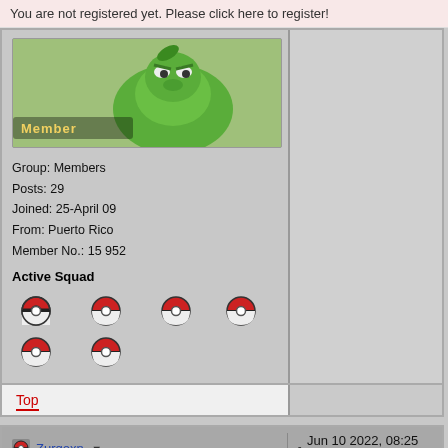You are not registered yet. Please click here to register!
[Figure (illustration): Green Pokémon avatar image with 'Member' text overlay]
Group: Members
Posts: 29
Joined: 25-April 09
From: Puerto Rico
Member No.: 15 952
Active Squad
[Figure (illustration): Six Pokéball icons in two rows representing active squad]
Top
Zurqoxn ▼
Jun 10 2022, 08:25 AM
Pokémon Trainer
[Figure (illustration): Blue/black Pokémon avatar image with 'Member' text overlay]
How do I get to the coin shop?
--------------------